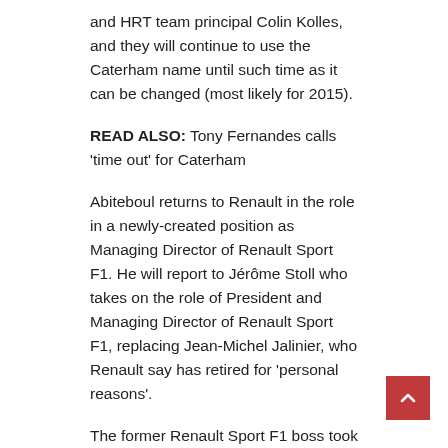and HRT team principal Colin Kolles, and they will continue to use the Caterham name until such time as it can be changed (most likely for 2015).
READ ALSO: Tony Fernandes calls 'time out' for Caterham
Abiteboul returns to Renault in the role in a newly-created position as Managing Director of Renault Sport F1. He will report to Jérôme Stoll who takes on the role of President and Managing Director of Renault Sport F1, replacing Jean-Michel Jalinier, who Renault say has retired for 'personal reasons'.
The former Renault Sport F1 boss took responsibility for the poor performance of this year's F1 engine, which Red Bull Racing have been especially vocal in criticising.